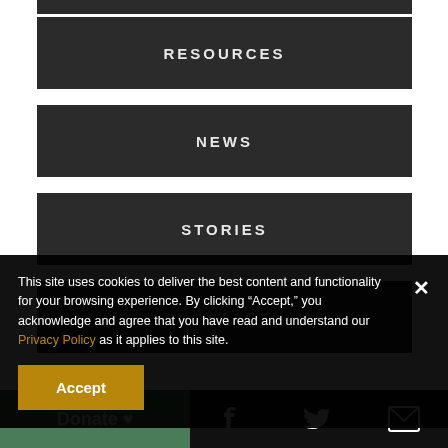RESOURCES
NEWS
STORIES
CONTACT
This site uses cookies to deliver the best content and functionality for your browsing experience. By clicking "Accept," you acknowledge and agree that you have read and understand our Privacy Policy as it applies to this site.
Accept
Donate ♥
[Figure (infographic): Social media icons: Facebook, Twitter, Email]